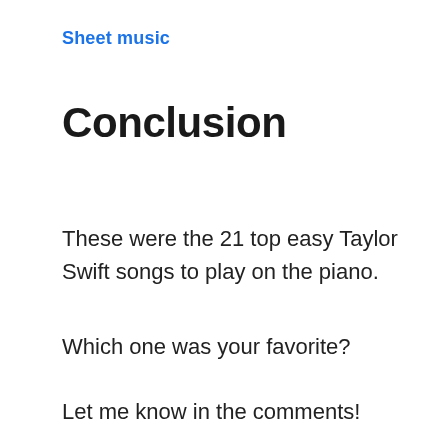Sheet music
Conclusion
These were the 21 top easy Taylor Swift songs to play on the piano.
Which one was your favorite?
Let me know in the comments!